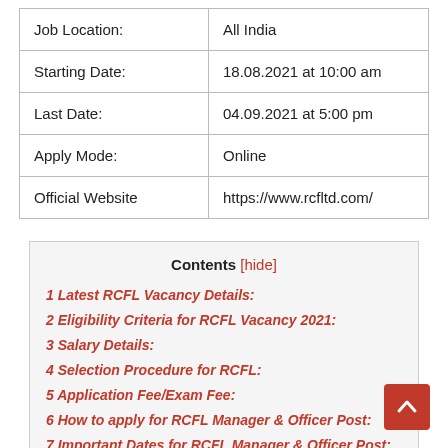| Field | Value |
| --- | --- |
| Job Location: | All India |
| Starting Date: | 18.08.2021 at 10:00 am |
| Last Date: | 04.09.2021 at 5:00 pm |
| Apply Mode: | Online |
| Official Website | https://www.rcfltd.com/ |
Contents [hide]
1 Latest RCFL Vacancy Details:
2 Eligibility Criteria for RCFL Vacancy 2021:
3 Salary Details:
4 Selection Procedure for RCFL:
5 Application Fee/Exam Fee:
6 How to apply for RCFL Manager & Officer Post:
7 Important Dates for RCFL Manager & Officer Post:
8 RCFL Manager & Officer Official Notification & Application